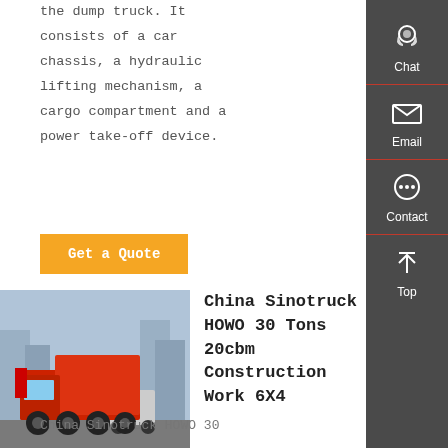the dump truck. It consists of a car chassis, a hydraulic lifting mechanism, a cargo compartment and a power take-off device.
Get a Quote
[Figure (photo): Red China Sinotruck HOWO dump truck parked on a road with buildings in the background]
China Sinotruck HOWO 30 Tons 20cbm Construction Work 6X4
China Sinotruck HOWO 30